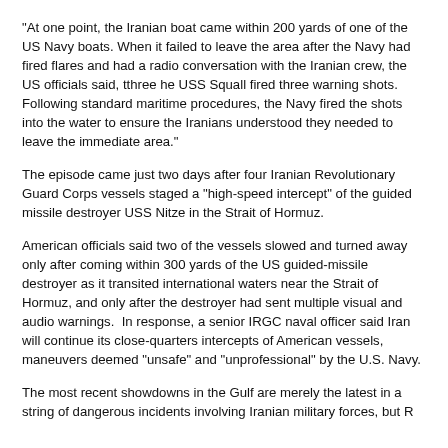"At one point, the Iranian boat came within 200 yards of one of the US Navy boats. When it failed to leave the area after the Navy had fired flares and had a radio conversation with the Iranian crew, the US officials said, tthree he USS Squall fired three warning shots. Following standard maritime procedures, the Navy fired the shots into the water to ensure the Iranians understood they needed to leave the immediate area."
The episode came just two days after four Iranian Revolutionary Guard Corps vessels staged a "high-speed intercept" of the guided missile destroyer USS Nitze in the Strait of Hormuz.
American officials said two of the vessels slowed and turned away only after coming within 300 yards of the US guided-missile destroyer as it transited international waters near the Strait of Hormuz, and only after the destroyer had sent multiple visual and audio warnings.  In response, a senior IRGC naval officer said Iran will continue its close-quarters intercepts of American vessels, maneuvers deemed "unsafe" and "unprofessional" by the U.S. Navy.
The most recent showdowns in the Gulf are merely the latest in a string of dangerous incidents involving Iranian military forces, but R____________________________